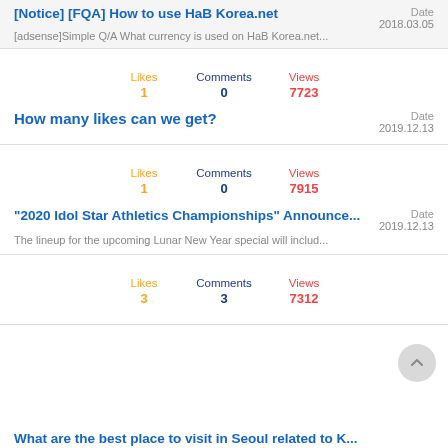[Notice] [FQA] How to use HaB Korea.net | Date 2018.03.05
[adsense]Simple Q/A What currency is used on HaB Korea.net...
Likes 1  Comments 0  Views 7723
How many likes can we get? | Date 2019.12.13
Likes 1  Comments 0  Views 7915
"2020 Idol Star Athletics Championships" Announce... | Date 2019.12.13
The lineup for the upcoming Lunar New Year special will includ...
Likes 3  Comments 3  Views 7312
What are the best place to visit in Seoul related to K...